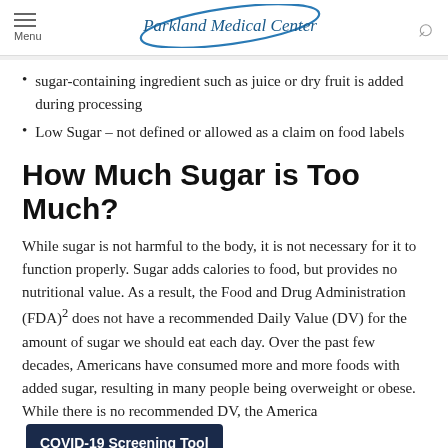Menu | Parkland Medical Center | Search
sugar-containing ingredient such as juice or dry fruit is added during processing
Low Sugar – not defined or allowed as a claim on food labels
How Much Sugar is Too Much?
While sugar is not harmful to the body, it is not necessary for it to function properly. Sugar adds calories to food, but provides no nutritional value. As a result, the Food and Drug Administration (FDA)2 does not have a recommended Daily Value (DV) for the amount of sugar we should eat each day. Over the past few decades, Americans have consumed more and more foods with added sugar, resulting in many people being overweight or obese. While there is no recommended DV, the America[n] general sugar intake guidelines for [COVID-19 Screening Tool button]
This amounts to limiting sugar consumption to about 100 calories